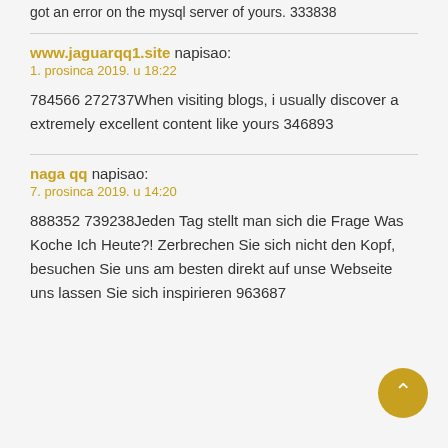got an error on the mysql server of yours. 333838
www.jaguarqq1.site napisao:
1. prosinca 2019. u 18:22
784566 272737When visiting blogs, i usually discover a extremely excellent content like yours 346893
naga qq napisao:
7. prosinca 2019. u 14:20
888352 739238Jeden Tag stellt man sich die Frage Was Koche Ich Heute?! Zerbrechen Sie sich nicht den Kopf, besuchen Sie uns am besten direkt auf unse Webseite uns lassen Sie sich inspirieren 963687